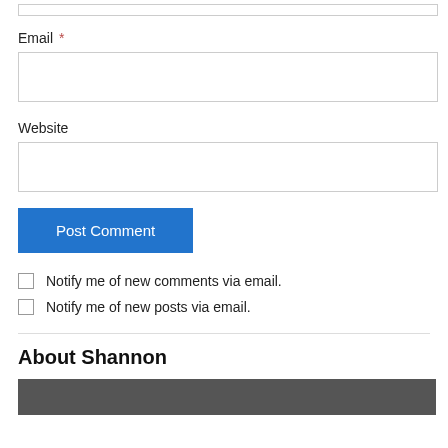Email *
Website
Post Comment
Notify me of new comments via email.
Notify me of new posts via email.
About Shannon
[Figure (photo): Partial photo of Shannon visible at the bottom of the page]